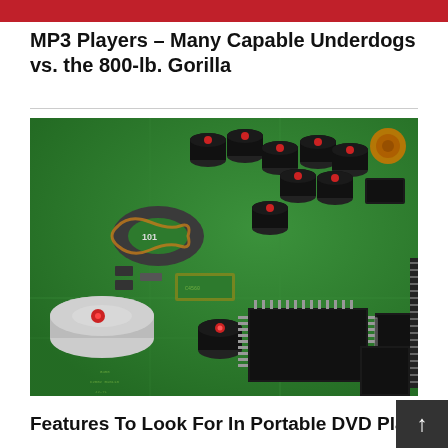MP3 Players – Many Capable Underdogs vs. the 800-lb. Gorilla
[Figure (photo): Close-up photograph of a green electronic circuit board (PCB) with multiple black electrolytic capacitors with red dots, a toroidal inductor labeled '101', black IC chips, and various surface-mount components soldered onto the board.]
Features To Look For In Portable DVD Players